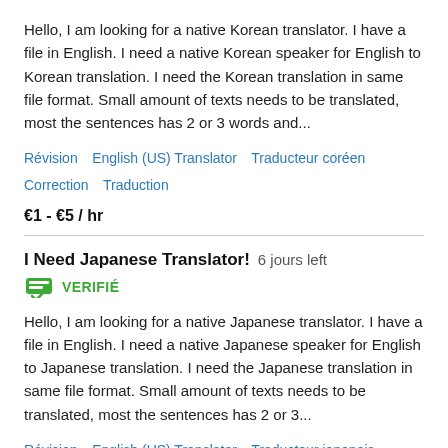Hello, I am looking for a native Korean translator. I have a file in English. I need a native Korean speaker for English to Korean translation. I need the Korean translation in same file format. Small amount of texts needs to be translated, most the sentences has 2 or 3 words and...
Révision   English (US) Translator   Traducteur coréen   Correction   Traduction
€1 - €5 / hr
I Need Japanese Translator!  6 jours left
VERIFIÉ
Hello, I am looking for a native Japanese translator. I have a file in English. I need a native Japanese speaker for English to Japanese translation. I need the Japanese translation in same file format. Small amount of texts needs to be translated, most the sentences has 2 or 3...
Révision   English (US) Translator   Traducteur japonais